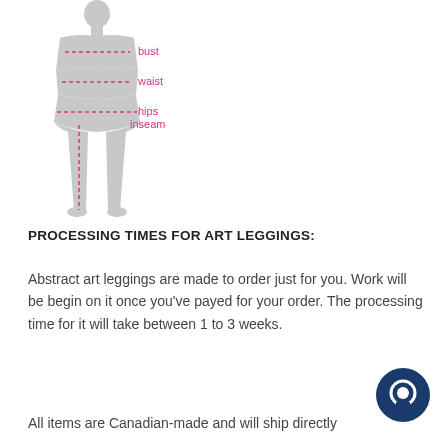[Figure (illustration): Body measurement diagram of a female silhouette showing dashed lines indicating bust, waist, hips, and inseam measurement points with pink/magenta labels.]
PROCESSING TIMES FOR ART LEGGINGS:
Abstract art leggings are made to order just for you. Work will be begin on it once you've payed for your order. The processing time for it will take between 1 to 3 weeks.
All items are Canadian-made and will ship directly